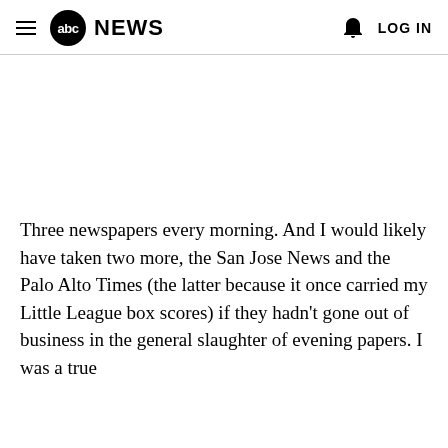abc NEWS  LOG IN
Three newspapers every morning. And I would likely have taken two more, the San Jose News and the Palo Alto Times (the latter because it once carried my Little League box scores) if they hadn't gone out of business in the general slaughter of evening papers. I was a true